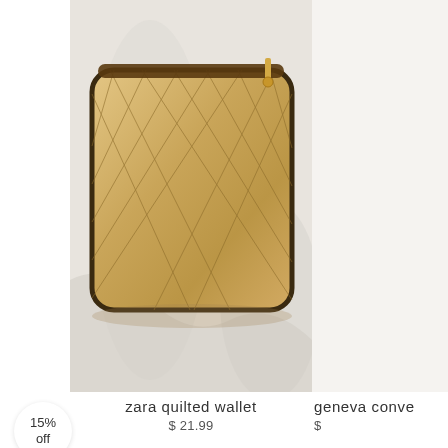[Figure (photo): A gold quilted zip-around wallet from Zara, placed on a white fabric background. The wallet has a diamond quilted pattern and a gold zipper.]
zara quilted wallet
$ 21.99
15%
off
geneva conve
$